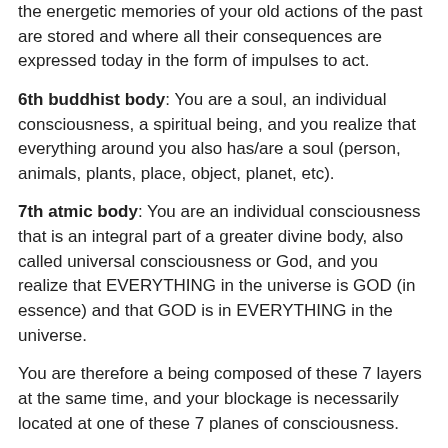the energetic memories of your old actions of the past are stored and where all their consequences are expressed today in the form of impulses to act.
6th buddhist body: You are a soul, an individual consciousness, a spiritual being, and you realize that everything around you also has/are a soul (person, animals, plants, place, object, planet, etc).
7th atmic body: You are an individual consciousness that is an integral part of a greater divine body, also called universal consciousness or God, and you realize that EVERYTHING in the universe is GOD (in essence) and that GOD is in EVERYTHING in the universe.
You are therefore a being composed of these 7 layers at the same time, and your blockage is necessarily located at one of these 7 planes of consciousness.